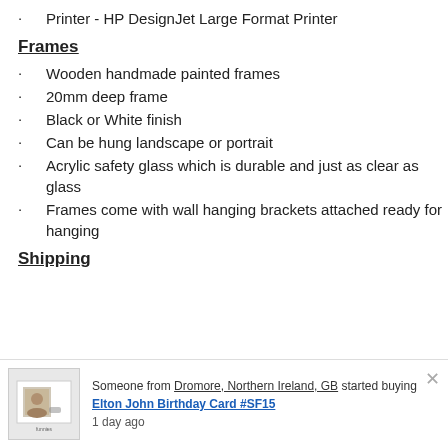Printer - HP DesignJet Large Format Printer
Frames
Wooden handmade painted frames
20mm deep frame
Black or White finish
Can be hung landscape or portrait
Acrylic safety glass which is durable and just as clear as glass
Frames come with wall hanging brackets attached ready for hanging
Shipping
Someone from Dromore, Northern Ireland, GB started buying Elton John Birthday Card #SF15 1 day ago